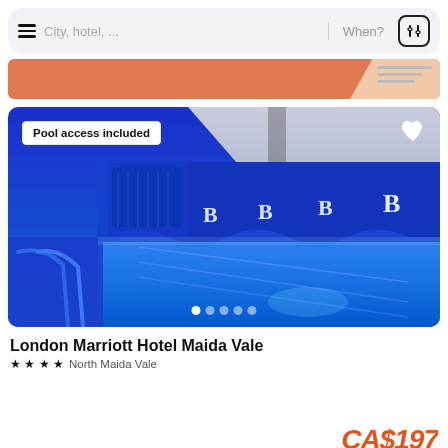[Figure (screenshot): Mobile app search bar with hamburger menu, city/hotel search placeholder, 'When?' date selector, and filter button]
[Figure (photo): Promotional banner with orange/salmon background and decorative lines on the right side]
[Figure (photo): Indoor swimming pool photo with blue lighting, showing pool with lane markers and letter 'B' logos on the wall. Label 'Pool access included' on top left, heart/favorite icon on top right, carousel dots at bottom.]
London Marriott Hotel Maida Vale
★ ★ ★ ★  North Maida Vale
CA$197